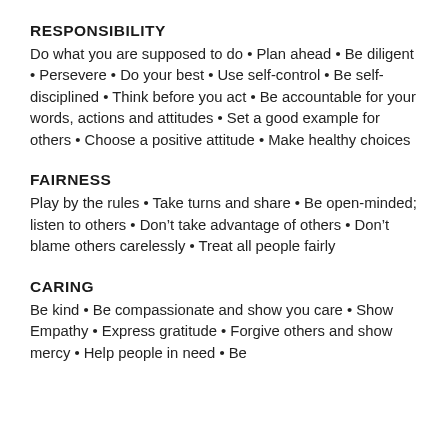RESPONSIBILITY
Do what you are supposed to do • Plan ahead • Be diligent • Persevere • Do your best • Use self-control • Be self-disciplined • Think before you act • Be accountable for your words, actions and attitudes • Set a good example for others • Choose a positive attitude • Make healthy choices
FAIRNESS
Play by the rules • Take turns and share • Be open-minded; listen to others • Don't take advantage of others • Don't blame others carelessly • Treat all people fairly
CARING
Be kind • Be compassionate and show you care • Show Empathy • Express gratitude • Forgive others and show mercy • Help people in need • Be